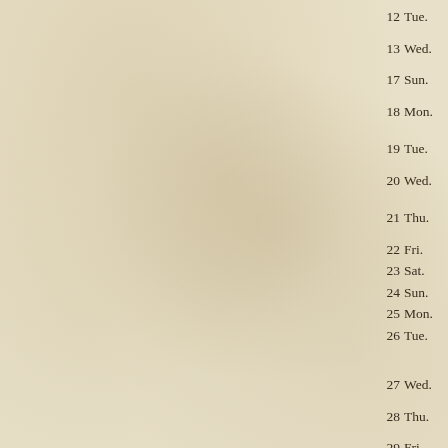12  Tue.
13  Wed.
17  Sun.
18  Mon.
19  Tue.
20  Wed.
21  Thu.
22  Fri.
23  Sat.
24  Sun.
25  Mon.
26  Tue.
27  Wed.
28  Thu.
29  Fri.